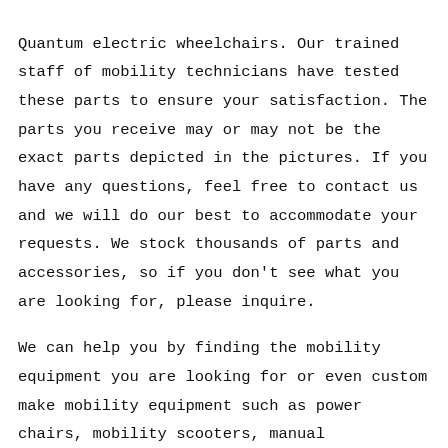Quantum electric wheelchairs. Our trained staff of mobility technicians have tested these parts to ensure your satisfaction. The parts you receive may or may not be the exact parts depicted in the pictures. If you have any questions, feel free to contact us and we will do our best to accommodate your requests. We stock thousands of parts and accessories, so if you don't see what you are looking for, please inquire.
We can help you by finding the mobility equipment you are looking for or even custom make mobility equipment such as power chairs, mobility scooters, manual wheelchairs, shower chairs, and more. If you have any questions or concerns about any of